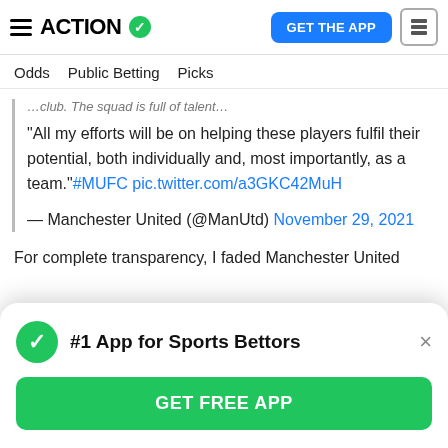ACTION [checkmark] | GET THE APP
Odds  Public Betting  Picks
…club. The squad is full of talent…
"All my efforts will be on helping these players fulfil their potential, both individually and, most importantly, as a team."#MUFC pic.twitter.com/a3GKC42MuH
— Manchester United (@ManUtd) November 29, 2021
For complete transparency, I faded Manchester United
#1 App for Sports Bettors
GET FREE APP